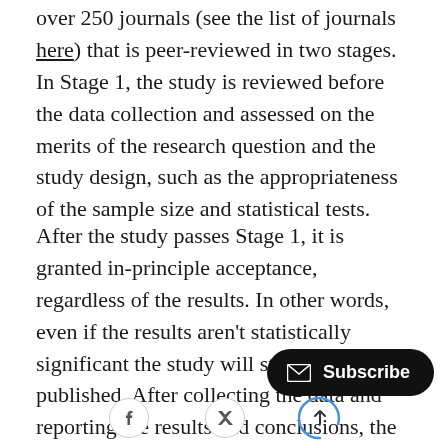over 250 journals (see the list of journals here) that is peer-reviewed in two stages. In Stage 1, the study is reviewed before the data collection and assessed on the merits of the research question and the study design, such as the appropriateness of the sample size and statistical tests.
After the study passes Stage 1, it is granted in-principle acceptance, regardless of the results. In other words, even if the results aren't statistically significant the study will still be published. After collecting the data and reporting the results and conclusions, the authors submit Stage 2 of their report. Here, the reviewers and editors check the consistency of the analysis wi...